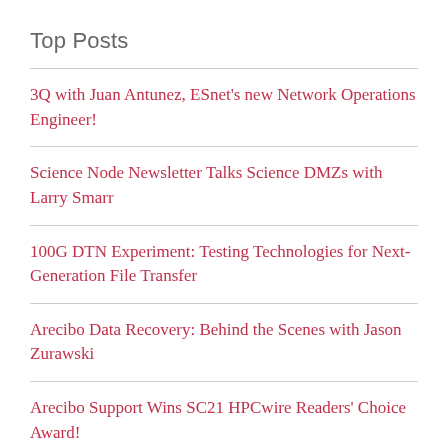Top Posts
3Q with Juan Antunez, ESnet's new Network Operations Engineer!
Science Node Newsletter Talks Science DMZs with Larry Smarr
100G DTN Experiment: Testing Technologies for Next-Generation File Transfer
Arecibo Data Recovery: Behind the Scenes with Jason Zurawski
Arecibo Support Wins SC21 HPCwire Readers' Choice Award!